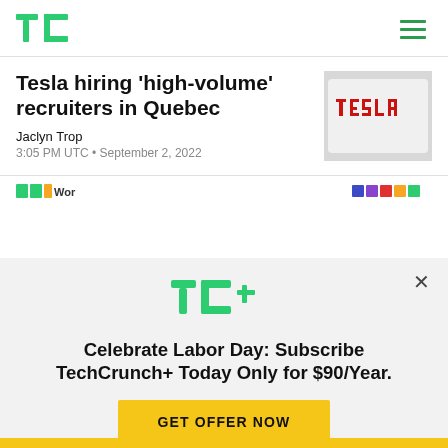TechCrunch
Tesla hiring ‘high-volume’ recruiters in Quebec
Jaclyn Trop
3:05 PM UTC • September 2, 2022
[Figure (photo): Tesla logo signage on a white background with red lettering]
[Figure (logo): TC+ TechCrunch Plus logo in green]
Celebrate Labor Day: Subscribe TechCrunch+ Today Only for $90/Year.
GET OFFER NOW